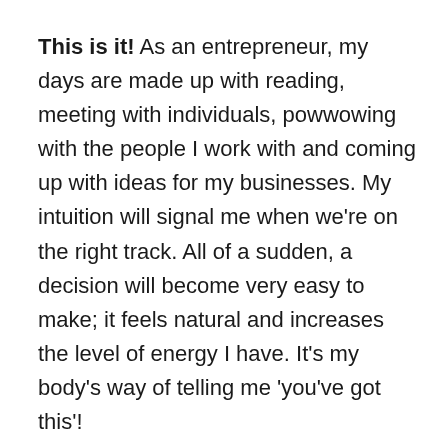This is it!  As an entrepreneur, my days are made up with reading, meeting with individuals, powwowing with the people I work with and coming up with ideas for my businesses.  My intuition will signal me when we're on the right track.  All of a sudden, a decision will become very easy to make; it feels natural and increases the level of energy I have.  It's my body's way of telling me 'you've got this'!
These are only a few of the ways my gut talks to me.  What I've noticed is that because I use my gut instincts to make big decisions, it's led me to choices that are truly satisfying.  My gut